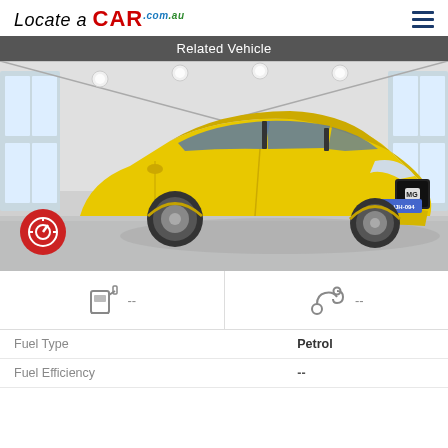Locate a CAR.com.au
Related Vehicle
[Figure (photo): Yellow MG3 hatchback car parked in a modern warehouse/showroom with grey concrete floor and industrial ceiling with skylights. Western Australian license plate 1HJH-094. Red circular camera/360-view icon overlaid at bottom left.]
--
--
|  |  |
| --- | --- |
| Fuel Type | Petrol |
| Fuel Efficiency | -- |